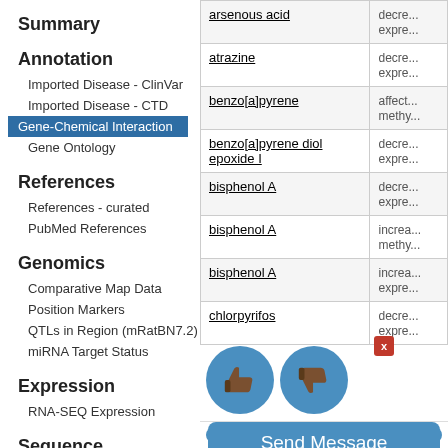Summary
Annotation
Imported Disease - ClinVar
Imported Disease - CTD
Gene-Chemical Interaction
Gene Ontology
References
References - curated
PubMed References
Genomics
Comparative Map Data
Position Markers
QTLs in Region (mRatBN7.2)
miRNA Target Status
Expression
RNA-SEQ Expression
Sequence
| Chemical | Interaction |
| --- | --- |
| arsenous acid | decre... expre... |
| atrazine | decre... expre... |
| benzo[a]pyrene | affect... methy... |
| benzo[a]pyrene diol epoxide I | decre... expre... |
| bisphenol A | decre... expre... |
| bisphenol A | increa... methy... |
| bisphenol A | increa... expre... |
| chlorpyrifos | decre... expre... |
1 to 20 of 50 rows